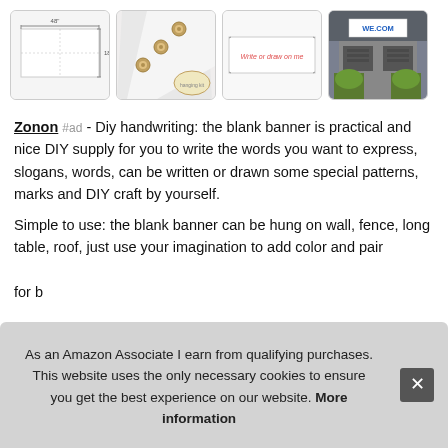[Figure (photo): Four product thumbnail images of a blank white banner: 1) flat white banner with dimensions, 2) banner with grommets close-up, 3) banner with colorful 'Write or draw on me' text, 4) banner hung on garage as 'WE.COM' sign.]
Zonon #ad - Diy handwriting: the blank banner is practical and nice DIY supply for you to write the words you want to express, slogans, words, can be written or drawn some special patterns, marks and DIY craft by yourself.
Simple to use: the blank banner can be hung on wall, fence, long table, roof, just use your imagination to add color and paint...for b...
As an Amazon Associate I earn from qualifying purchases. This website uses the only necessary cookies to ensure you get the best experience on our website. More information